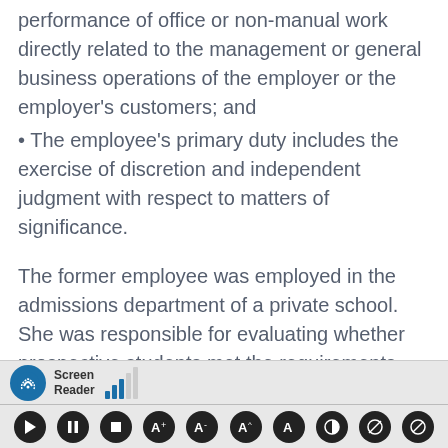The employee's primary duty must be the performance of office or non-manual work directly related to the management or general business operations of the employer or the employer's customers; and
The employee's primary duty includes the exercise of discretion and independent judgment with respect to matters of significance.
The former employee was employed in the admissions department of a private school. She was responsible for evaluating whether prospective students met the requirements